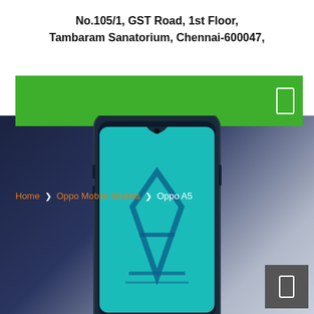No.105/1, GST Road, 1st Floor, Tambaram Sanatorium, Chennai-600047,
[Figure (photo): Green navigation bar with white phone icon on right side, above a dark blue and grey background showing an Oppo A5 smartphone product photo with breadcrumb navigation: Home > Oppo Mobile Models > Oppo A5]
Home   ❯   Oppo Mobile Models   ❯   Oppo A5